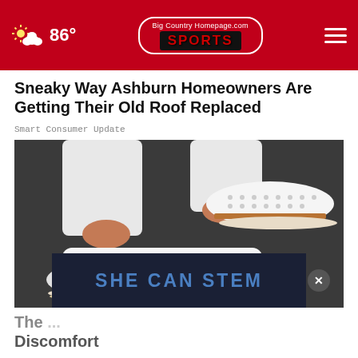86° | Big Country Homepage.com SPORTS
Sneaky Way Ashburn Homeowners Are Getting Their Old Roof Replaced
Smart Consumer Update
[Figure (photo): Close-up photo of someone wearing white casual slip-on shoes with perforated leather upper, tan stripe detailing, white rope sole, and small tassel, paired with white rolled-up jeans]
SHE CAN STEM
The ... Discomfort